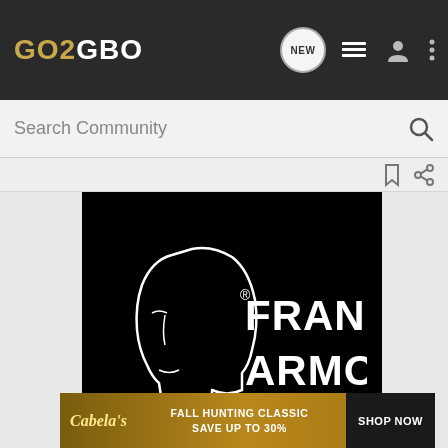GO2GBO
[Figure (screenshot): Search Community bar with magnifying glass icon]
[Figure (logo): Franklin Armory logo — white outline silhouette of a face beside bold white text reading FRANKLIN ARMORY with registered trademark symbol, on black background]
[Figure (infographic): Cabela's advertisement banner: Fall Hunting Classic Save Up To 30% with Shop Now button]